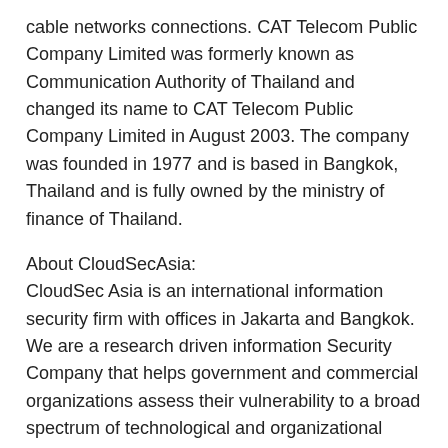cable networks connections. CAT Telecom Public Company Limited was formerly known as Communication Authority of Thailand and changed its name to CAT Telecom Public Company Limited in August 2003. The company was founded in 1977 and is based in Bangkok, Thailand and is fully owned by the ministry of finance of Thailand.
About CloudSecAsia:
CloudSec Asia is an international information security firm with offices in Jakarta and Bangkok. We are a research driven information Security Company that helps government and commercial organizations assess their vulnerability to a broad spectrum of technological and organizational risks, and develop customized solutions to contain and control them. Our approach is to replace traditional, manual processes and disparate point solutions to implement